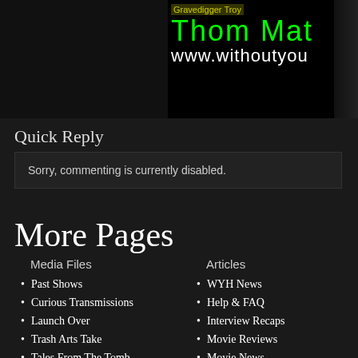[Figure (screenshot): Website banner/header image with dark background, green grunge text reading 'Gravedigger Troy' and 'Thom Ma...' with 'www.withoutyou...' URL, and a figure silhouette on the right]
Quick Reply
Sorry, commenting is currently disabled.
More Pages
Media Files
Past Shows
Curious Transmissions
Launch Over
Trash Arts Take
Tales From The Tomb
Culture Shock
3Haunted
Ripped Comics Podcast
The Twisted Girl Next Door
Articles
WYH News
Help & FAQ
Interview Recaps
Movie Reviews
Movie News
Dinner & A Movie
Artist of the Month
Merchandise
The Human Centipede